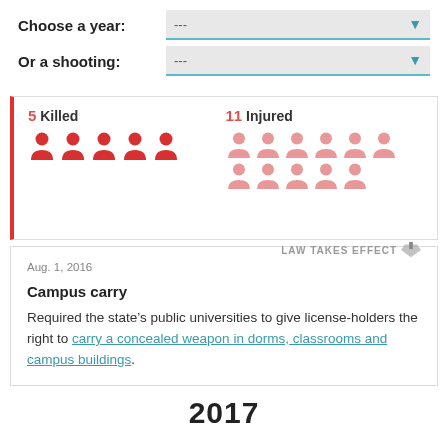Choose a year: ---
Or a shooting: ---
5 Killed  11 Injured
[Figure (infographic): 5 red person icons representing killed, 11 pink person icons representing injured]
Aug. 1, 2016   LAW TAKES EFFECT
Campus carry
Required the state's public universities to give license-holders the right to carry a concealed weapon in dorms, classrooms and campus buildings.
2017